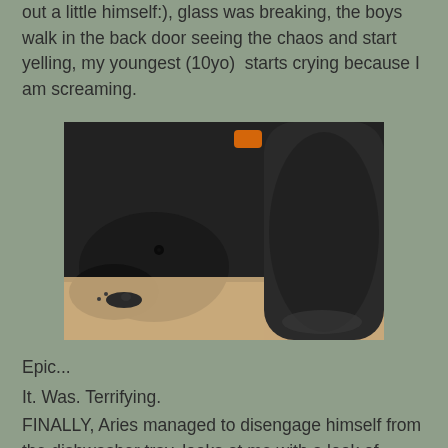out a little himself:), glass was breaking, the boys walk in the back door seeing the chaos and start yelling, my youngest (10yo)  starts crying because I am screaming.
[Figure (photo): Close-up photo of a black dog, showing its head and front leg/paw resting on a cardboard or wooden surface. The dog appears to be a dark-coated breed, possibly a Rottweiler or similar. An orange collar tag is partially visible.]
Epic...
It. Was. Terrifying.
FINALLY, Aries managed to disengage himself from the dishwasher tray, looks at me with a look of (what I can only